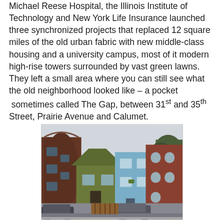Michael Reese Hospital, the Illinois Institute of Technology and New York Life Insurance launched three synchronized projects that replaced 12 square miles of the old urban fabric with new middle-class housing and a university campus, most of it modern high-rise towers surrounded by vast green lawns. They left a small area where you can still see what the old neighborhood looked like – a pocket sometimes called The Gap, between 31st and 35th Street, Prairie Avenue and Calumet.
[Figure (photo): Street-level photograph of a row of old residential buildings in The Gap neighborhood, Chicago. From left: a rounded-bay dark brick building, a green-sided cottage, a blue two-story brick row house, and a red-brick building with arched windows. Trees visible on the right. Cars parked on the street in the foreground.]